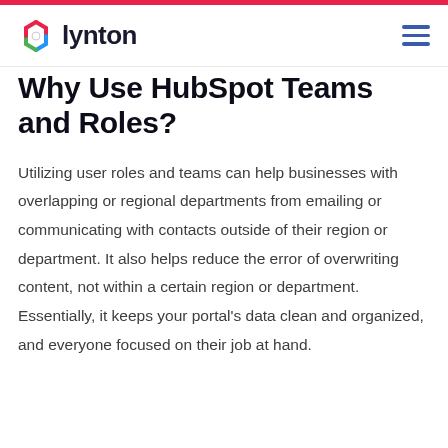lynton
Why Use HubSpot Teams and Roles?
Utilizing user roles and teams can help businesses with overlapping or regional departments from emailing or communicating with contacts outside of their region or department. It also helps reduce the error of overwriting content, not within a certain region or department. Essentially, it keeps your portal's data clean and organized, and everyone focused on their job at hand.